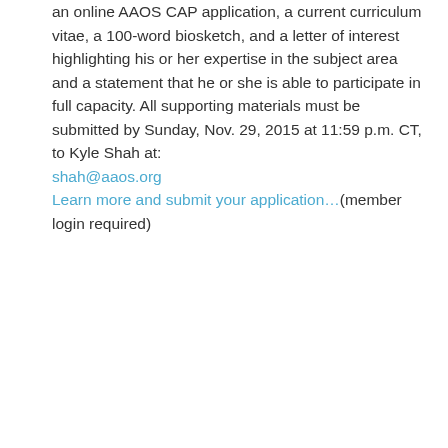an online AAOS CAP application, a current curriculum vitae, a 100-word biosketch, and a letter of interest highlighting his or her expertise in the subject area and a statement that he or she is able to participate in full capacity. All supporting materials must be submitted by Sunday, Nov. 29, 2015 at 11:59 p.m. CT, to Kyle Shah at: shah@aaos.org Learn more and submit your application…(member login required)
By Diane Slaughter | November 9th, 2015 | Top Stories
Share This Story, Choose Your Platform!